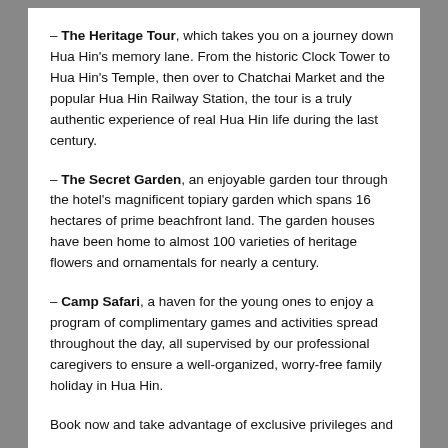– The Heritage Tour, which takes you on a journey down Hua Hin's memory lane. From the historic Clock Tower to Hua Hin's Temple, then over to Chatchai Market and the popular Hua Hin Railway Station, the tour is a truly authentic experience of real Hua Hin life during the last century.
– The Secret Garden, an enjoyable garden tour through the hotel's magnificent topiary garden which spans 16 hectares of prime beachfront land. The garden houses have been home to almost 100 varieties of heritage flowers and ornamentals for nearly a century.
– Camp Safari, a haven for the young ones to enjoy a program of complimentary games and activities spread throughout the day, all supervised by our professional caregivers to ensure a well-organized, worry-free family holiday in Hua Hin.
Book now and take advantage of exclusive privileges and